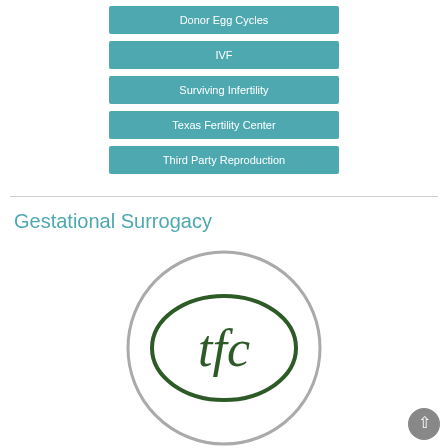Donor Egg Cycles
IVF
Surviving Infertility
Texas Fertility Center
Third Party Reproduction
Gestational Surrogacy
[Figure (logo): Texas Fertility Center (tfc) circular logo with green oval and letters tfc inside a gray circle]